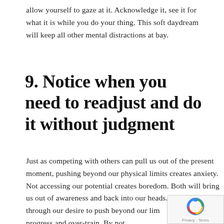allow yourself to gaze at it. Acknowledge it, see it for what it is while you do your thing. This soft daydream will keep all other mental distractions at bay.
9. Notice when you need to readjust and do it without judgment
Just as competing with others can pull us out of the present moment, pushing beyond our physical limits creates anxiety. Not accessing our potential creates boredom. Both will bring us out of awareness and back into our heads. The irony that through our desire to push beyond our limits we limit our progress and over-train. By not